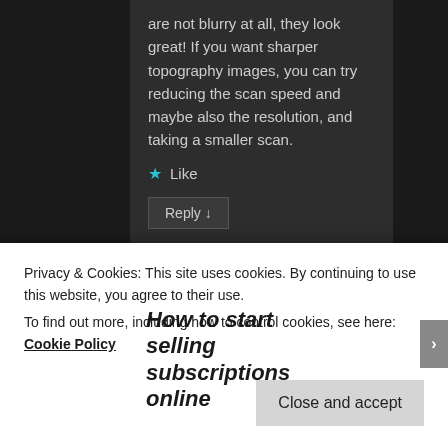are not blurry at all, they look great! If you want sharper topography images, you can try reducing the scan speed and maybe also the resolution, and taking a smaller scan.
Like
Reply ↓
[Figure (infographic): Advertisement banner reading 'How to start selling subscriptions online' with cyan/blue geometric shape on the right]
Privacy & Cookies: This site uses cookies. By continuing to use this website, you agree to their use.
To find out more, including how to control cookies, see here: Cookie Policy
Close and accept